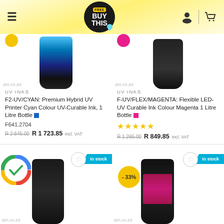[Figure (screenshot): BuyThis website header with yellow gradient background, hamburger menu, BuyThis logo, user and cart icons]
[Figure (photo): UV Ink cyan bottle product image with am.co.za watermark]
UV INKS
F2-UV/CYAN: Premium Hybrid UV Printer Cyan Colour UV-Curable Ink, 1 Litre Bottle F641.2704
R 2 645.00  R 1 723.85 incl. VAT
[Figure (photo): UV Ink magenta bottle (black bottle) product image with am.co.za watermark]
UV INKS
F-UV/FLEX/MAGENTA: Flexible LED-UV Curable Ink Colour Magenta 1 Litre Bottle
R 1 265.00  R 849.85 incl. VAT
[Figure (photo): Bottom left product: black bottle with label, Google-style circle with green checkmark overlay, in stock badge, heart button, am.co.za watermark]
[Figure (photo): Bottom right product: black bottle with magenta label, -33% discount badge, in stock badge, heart button, am.co.za watermark]